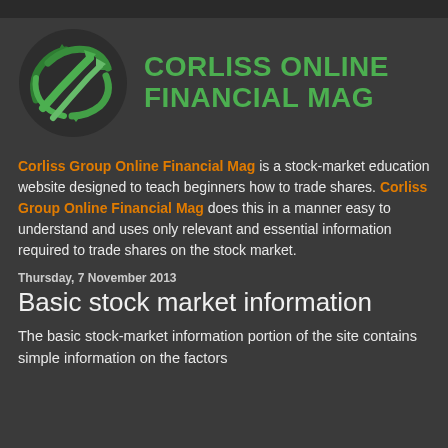[Figure (logo): Corliss Online Financial Mag logo with green arrows globe icon and green text]
Corliss Group Online Financial Mag is a stock-market education website designed to teach beginners how to trade shares. Corliss Group Online Financial Mag does this in a manner easy to understand and uses only relevant and essential information required to trade shares on the stock market.
Thursday, 7 November 2013
Basic stock market information
The basic stock-market information portion of the site contains simple information on the factors